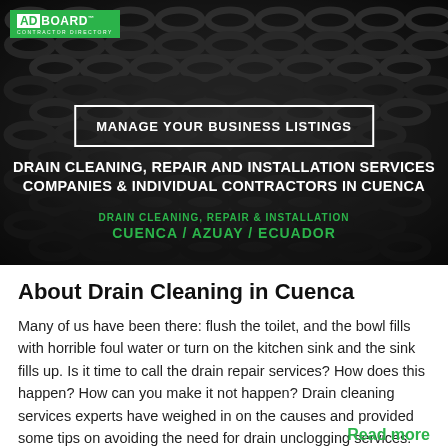[Figure (photo): Dark background image of coiled metallic drain snake/auger cables filling the frame]
ADBOARD™
MANAGE YOUR BUSINESS LISTINGS
DRAIN CLEANING, REPAIR AND INSTALLATION SERVICES COMPANIES & INDIVIDUAL CONTRACTORS IN CUENCA
DRAIN CLEANING, REPAIR & INSTALLATION
CUENCA / AZUAY / ECUADOR
About Drain Cleaning in Cuenca
Many of us have been there: flush the toilet, and the bowl fills with horrible foul water or turn on the kitchen sink and the sink fills up. Is it time to call the drain repair services? How does this happen? How can you make it not happen? Drain cleaning services experts have weighed in on the causes and provided some tips on avoiding the need for drain unclogging services.
Read more